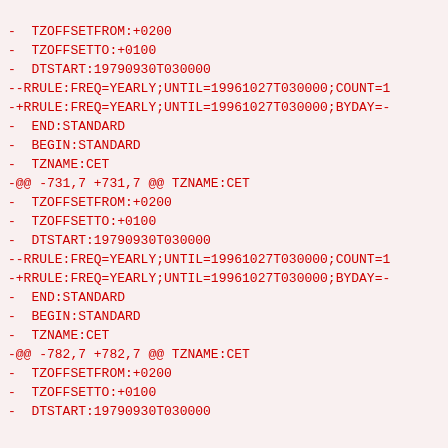- TZOFFSETFROM:+0200
- TZOFFSETTO:+0100
- DTSTART:19790930T030000
--RRULE:FREQ=YEARLY;UNTIL=19961027T030000;COUNT=1
-+RRULE:FREQ=YEARLY;UNTIL=19961027T030000;BYDAY=-
- END:STANDARD
- BEGIN:STANDARD
- TZNAME:CET
-@@ -731,7 +731,7 @@ TZNAME:CET
- TZOFFSETFROM:+0200
- TZOFFSETTO:+0100
- DTSTART:19790930T030000
--RRULE:FREQ=YEARLY;UNTIL=19961027T030000;COUNT=1
-+RRULE:FREQ=YEARLY;UNTIL=19961027T030000;BYDAY=-
- END:STANDARD
- BEGIN:STANDARD
- TZNAME:CET
-@@ -782,7 +782,7 @@ TZNAME:CET
- TZOFFSETFROM:+0200
- TZOFFSETTO:+0100
- DTSTART:19790930T030000